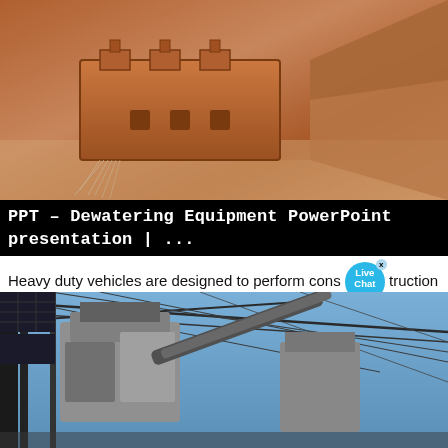[Figure (photo): Close-up photo of orange/rust-colored dewatering or mining equipment machinery components]
PPT – Dewatering Equipment PowerPoint presentation | ...
Heavy duty vehicles are designed to perform construction tasks such as: Earthwork operations Excavations Demolition Heavy lifting Rough Grading River Dredging Mining Dewatering Heavy Equipment are classified as Earth-moving equipment Hauling equipment
[Figure (photo): Photo of industrial mining or dewatering heavy equipment with metal structures, conveyor belts and steel framework against a blue sky]